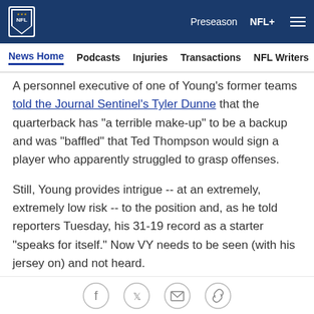NFL — Preseason  NFL+
News Home  Podcasts  Injuries  Transactions  NFL Writers  Se…
A personnel executive of one of Young's former teams told the Journal Sentinel's Tyler Dunne that the quarterback has "a terrible make-up" to be a backup and was "baffled" that Ted Thompson would sign a player who apparently struggled to grasp offenses.
Still, Young provides intrigue -- at an extremely, extremely low risk -- to the position and, as he told reporters Tuesday, his 31-19 record as a starter "speaks for itself." Now VY needs to be seen (with his jersey on) and not heard.
The Jenner and Thompson Packagingtions are available…